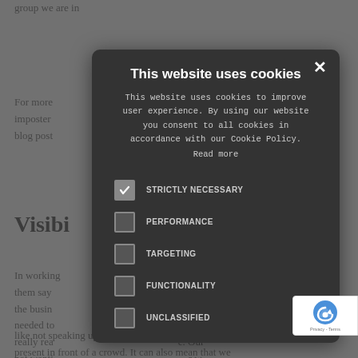group we are in
For more ... ers of imposter ... revious blog post...
Visibi...
In working... d a lot of them say... "seen" in the busin... hey needed to... hey were really rea... e. Our not wantt... r w... like not speaking up in meetings, or not wanting present in front of a crowd. It can also mean that we
[Figure (screenshot): Cookie consent modal dialog on a dark overlay. Title: 'This website uses cookies'. Body text: 'This website uses cookies to improve user experience. By using our website you consent to all cookies in accordance with our Cookie Policy. Read more'. Cookie options: STRICTLY NECESSARY (checked), PERFORMANCE (unchecked), TARGETING (unchecked), FUNCTIONALITY (unchecked), UNCLASSIFIED (unchecked). Close button (X) in top right corner.]
[Figure (logo): reCAPTCHA badge in bottom right corner with Privacy - Terms text]